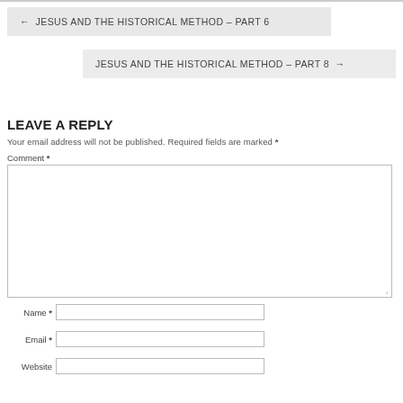← JESUS AND THE HISTORICAL METHOD – PART 6
JESUS AND THE HISTORICAL METHOD – PART 8 →
LEAVE A REPLY
Your email address will not be published. Required fields are marked *
Comment *
Name *
Email *
Website